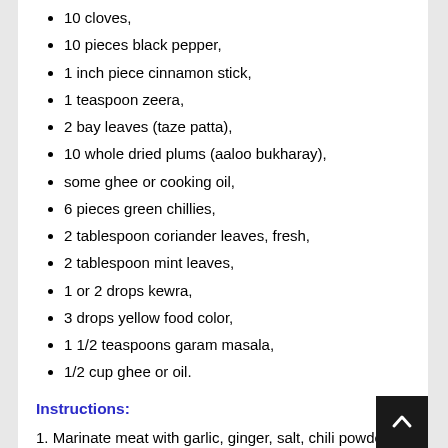10 cloves,
10 pieces black pepper,
1 inch piece cinnamon stick,
1 teaspoon zeera,
2 bay leaves (taze patta),
10 whole dried plums (aaloo bukharay),
some ghee or cooking oil,
6 pieces green chillies,
2 tablespoon coriander leaves, fresh,
2 tablespoon mint leaves,
1 or 2 drops kewra,
3 drops yellow food color,
1 1/2 teaspoons garam masala,
1/2 cup ghee or oil.
Instructions:
1. Marinate meat with garlic, ginger, salt, chili powder and garam masala for half an hour.
2. Meanwhile, heat oil or ghee in a heavy based sauce pan and fry onions for 5-10 minutes to a golden brown. Remove onions from oil and stir into the yogurt. Rub this yogurt all ove the marinated chicken cover and put in a cool place for at least an hour.